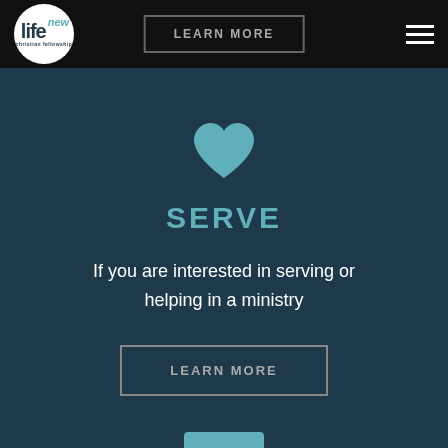[Figure (logo): New Life Christian Fellowship circular logo in white circle on black header bar]
LEARN MORE
[Figure (illustration): Hamburger menu icon (three horizontal white lines) in top right corner]
[Figure (illustration): Teal heart icon centered on dark blue background]
SERVE
If you are interested in serving or helping in a ministry
LEARN MORE